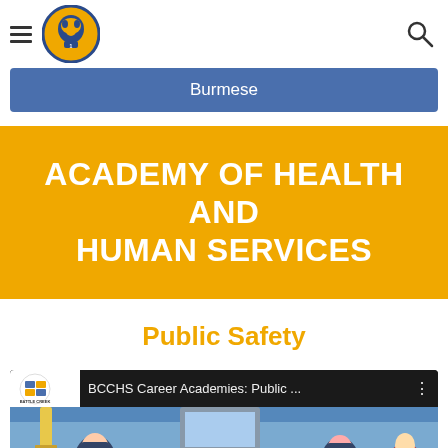≡ [Battle Creek Central High School Logo] 🔍
Burmese
ACADEMY OF HEALTH AND HUMAN SERVICES
Public Safety
[Figure (screenshot): YouTube video thumbnail showing BCCHS Career Academies: Public ... with Battle Creek logo and cartoon police officers]